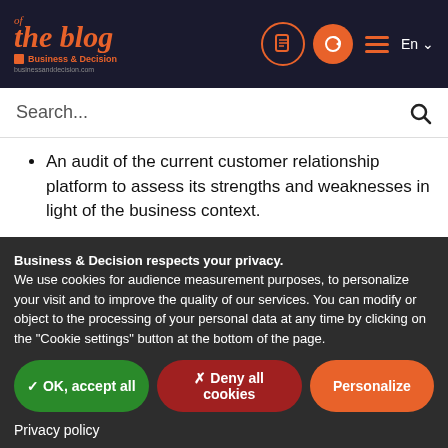the blog of Business & Decision — En
Search...
An audit of the current customer relationship platform to assess its strengths and weaknesses in light of the business context.
A Customer Relationship Management (CRM) tool project that will help it recover its fast development
Business & Decision respects your privacy.
We use cookies for audience measurement purposes, to personalize your visit and to improve the quality of our services. You can modify or object to the processing of your personal data at any time by clicking on the "Cookie settings" button at the bottom of the page.
✓ OK, accept all   ✗ Deny all cookies   Personalize
Privacy policy